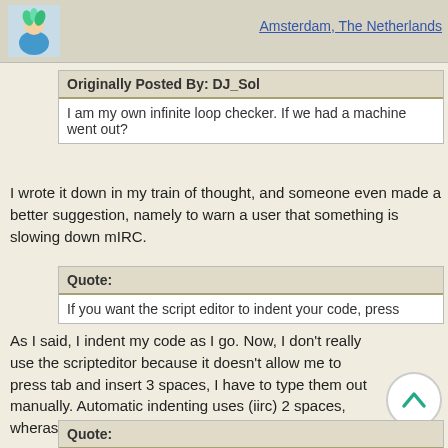Amsterdam, The Netherlands
Originally Posted By: DJ_Sol
I am my own infinite loop checker. If we had a machine went out?
I wrote it down in my train of thought, and someone even made a better suggestion, namely to warn a user that something is slowing down mIRC.
Quote:
If you want the script editor to indent your code, press
As I said, I indent my code as I go. Now, I don't really use the scripteditor because it doesn't allow me to press tab and insert 3 spaces, I have to type them out manually. Automatic indenting uses (iirc) 2 spaces, wheras I want 3 of them, just to be really annoying ;_)
Quote: